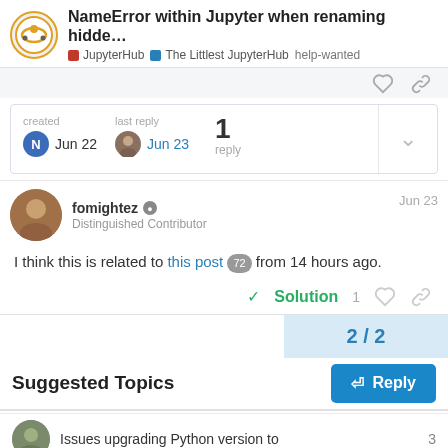NameError within Jupyter when renaming hidde... JupyterHub The Littlest JupyterHub help-wanted
created Jun 22  last reply Jun 23  1 reply
fomightez  Distinguished Contributor  Jun 23
I think this is related to this post 72 from 14 hours ago.
Solution  1
2 / 2
Reply
Suggested Topics
Issues upgrading Python version to  3